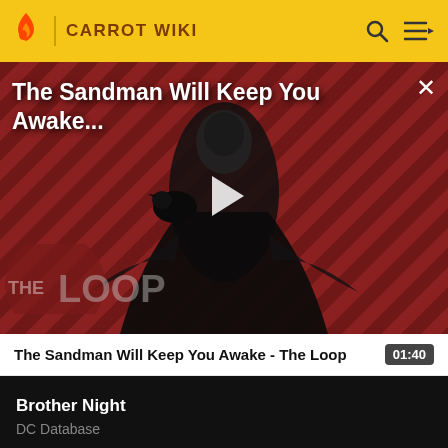CARROT WIKI
[Figure (screenshot): Video thumbnail showing The Sandman character in black costume against a red diagonal striped background with 'THE LOOP' text overlay and a play button in the center]
The Sandman Will Keep You Awake - The Loop  01:40
Brother Night
DC Database